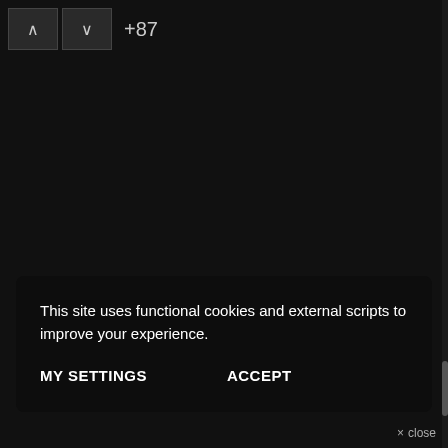[Figure (screenshot): Navigation bar with up and down arrow buttons and '+87' count indicator on dark background]
This site uses functional cookies and external scripts to improve your experience.
MY SETTINGS    ACCEPT
× close